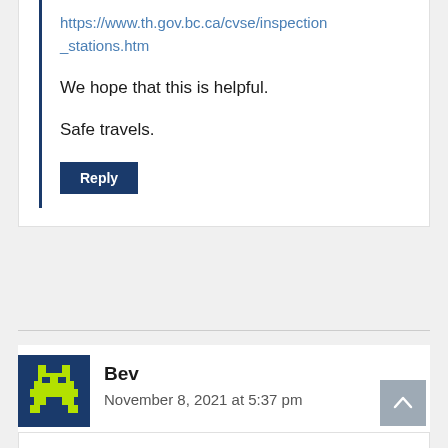https://www.th.gov.bc.ca/cvse/inspection_stations.htm
We hope that this is helpful.
Safe travels.
Reply
Bev
November 8, 2021 at 5:37 pm
Do chains half to be visiable on comercial vehicals or can the be inside cab during